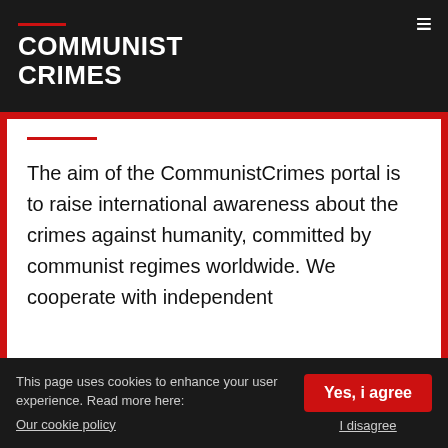COMMUNIST CRIMES
The aim of the CommunistCrimes portal is to raise international awareness about the crimes against humanity, committed by communist regimes worldwide. We cooperate with independent
This page uses cookies to enhance your user experience. Read more here:
Our cookie policy
Yes, i agree
I disagree